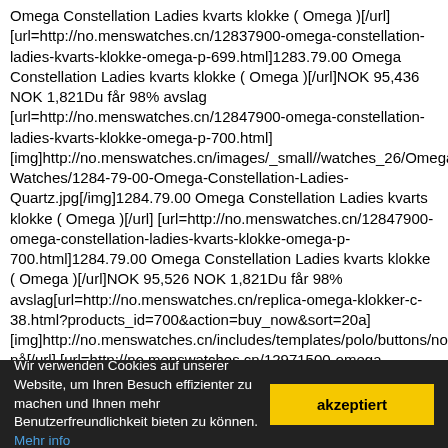Omega Constellation Ladies kvarts klokke ( Omega )[/url] [url=http://no.menswatches.cn/12837900-omega-constellation-ladies-kvarts-klokke-omega-p-699.html]1283.79.00 Omega Constellation Ladies kvarts klokke ( Omega )[/url]NOK 95,436 NOK 1,821Du får 98% avslag [url=http://no.menswatches.cn/12847900-omega-constellation-ladies-kvarts-klokke-omega-p-700.html] [img]http://no.menswatches.cn/images/_small//watches_26/Omega-Watches/1284-79-00-Omega-Constellation-Ladies-Quartz.jpg[/img]1284.79.00 Omega Constellation Ladies kvarts klokke ( Omega )[/url] [url=http://no.menswatches.cn/12847900-omega-constellation-ladies-kvarts-klokke-omega-p-700.html]1284.79.00 Omega Constellation Ladies kvarts klokke ( Omega )[/url]NOK 95,526 NOK 1,821Du får 98% avslag[url=http://no.menswatches.cn/replica-omega-klokker-c-38.html?products_id=700&action=buy_now&sort=20a] [img]http://no.menswatches.cn/includes/templates/polo/buttons/norwegian/button nå[/url] [url=http://no.menswatches.cn/12971500-omega-constellation-ladies-automatiske-mekaniske-klokker-omega-p-701.html] [img]http://no.menswatches.cn/images/_small//watches_26/Omega-Watches/1297-15-00-Omega-Constellation-Ladies-automatic.jpg[/img]1297.15.00 Omega Constellation Ladies automatiske mekaniske klokker ( Omega )[/url]
Wir verwenden Cookies auf unserer Website, um Ihren Besuch effizienter zu machen und Ihnen mehr Benutzerfreundlichkeit bieten zu können. Mehr info
akzeptiert